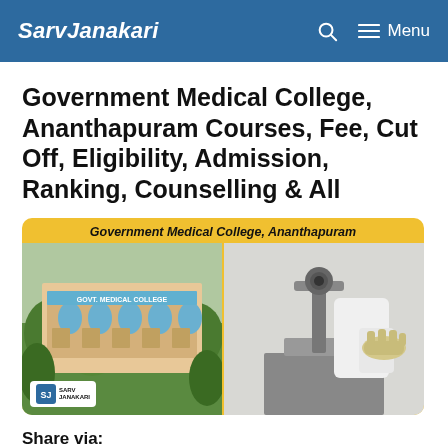SarvJanakari
Government Medical College, Ananthapuram Courses, Fee, Cut Off, Eligibility, Admission, Ranking, Counselling & All
[Figure (photo): Government Medical College, Ananthapuram: left photo shows college building exterior with 'Govt. Medical College' signage and trees; right photo shows a person in white lab coat and gloves using a microscope in a laboratory. Yellow banner at top reads 'Government Medical College, Ananthapuram'. SarvJanakari logo badge at bottom-left.]
Share via: